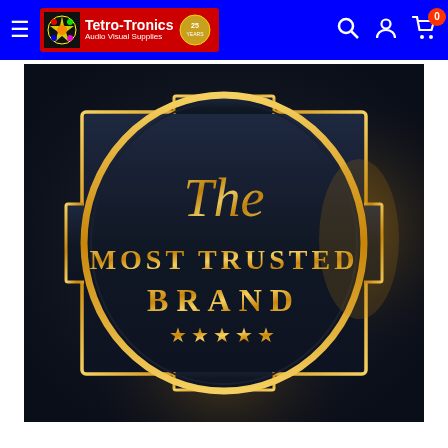Tetro-Tronics Audio Visual Supplies — navigation bar
[Figure (illustration): Dark premium badge/emblem with gold border on dark background. The badge reads 'The MOST TRUSTED BRAND' with five gold stars below, styled as a luxury brand seal with glowing gold oval frame and decorative notched rectangular border.]